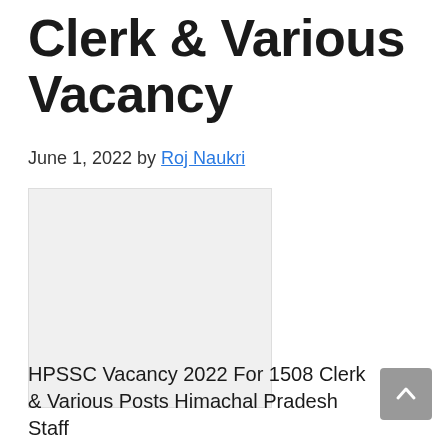Clerk & Various Vacancy
June 1, 2022 by Roj Naukri
[Figure (other): Placeholder image box (light gray rectangle)]
HPSSC Vacancy 2022 For 1508 Clerk & Various Posts Himachal Pradesh Staff